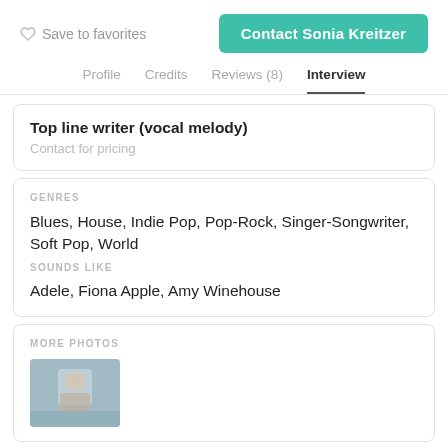Save to favorites
Contact Sonia Kreitzer
Profile   Credits   Reviews (8)   Interview
Top line writer (vocal melody)
Contact for pricing
GENRES
Blues, House, Indie Pop, Pop-Rock, Singer-Songwriter, Soft Pop, World
SOUNDS LIKE
Adele, Fiona Apple, Amy Winehouse
MORE PHOTOS
[Figure (photo): Small thumbnail photo of Sonia Kreitzer]